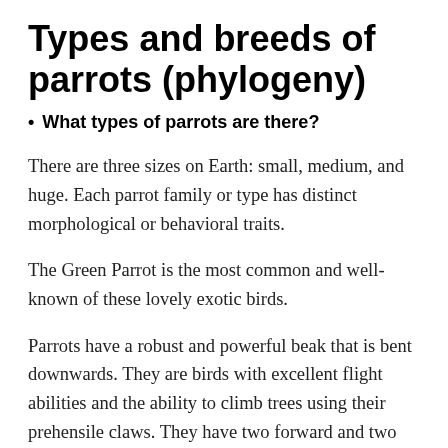Types and breeds of parrots (phylogeny)
What types of parrots are there?
There are three sizes on Earth: small, medium, and huge. Each parrot family or type has distinct morphological or behavioral traits.
The Green Parrot is the most common and well-known of these lovely exotic birds.
Parrots have a robust and powerful beak that is bent downwards. They are birds with excellent flight abilities and the ability to climb trees using their prehensile claws. They have two forward and two